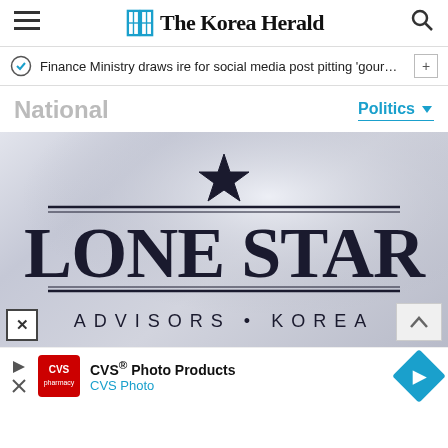The Korea Herald
Finance Ministry draws ire for social media post pitting 'gourmet ···
National
Politics
[Figure (photo): Lone Star Advisors Korea building sign/logo — dark lettering on a light metallic/grey background featuring a large star above the text LONE STAR in large bold serif font, with ADVISORS • KOREA in smaller spaced capitals below, flanked by horizontal lines]
[Figure (infographic): CVS Photo Products advertisement banner with CVS pharmacy logo, play/close button, and navigation arrow icon]